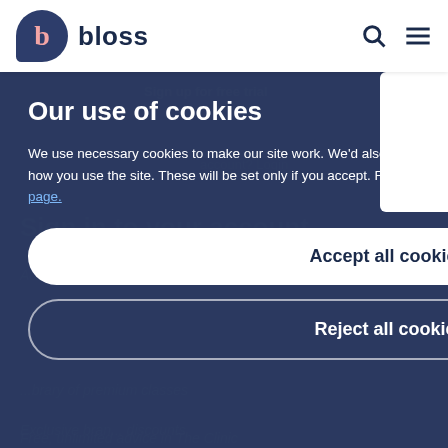[Figure (logo): Bloss logo: dark navy circle with letter b in pink, followed by bold text 'bloss', search icon and hamburger menu icon on the right]
Our use of cookies
We use necessary cookies to make our site work. We'd also like to set analytics cookies that help us make improvements by measuring how you use the site. These will be set only if you accept. For more detailed information about the cookies we use, see our Cookies page.
Accept all cookies
Reject all cookies